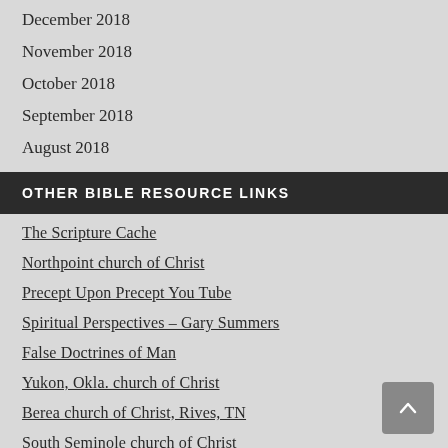December 2018
November 2018
October 2018
September 2018
August 2018
OTHER BIBLE RESOURCE LINKS
The Scripture Cache
Northpoint church of Christ
Precept Upon Precept You Tube
Spiritual Perspectives – Gary Summers
False Doctrines of Man
Yukon, Okla. church of Christ
Berea church of Christ, Rives, TN
South Seminole church of Christ